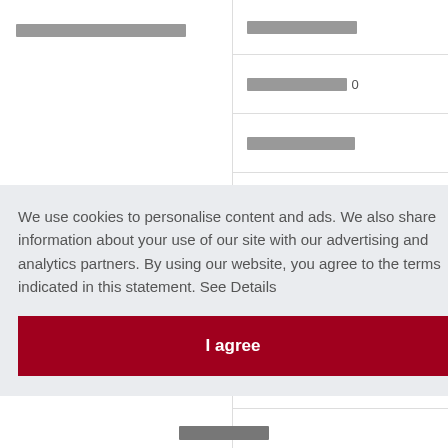[garbled Thai/corrupted text]
[garbled text]
[garbled text] 0
[garbled text]
[garbled text] 0
[garbled text] 0
We use cookies to personalise content and ads. We also share information about your use of our site with our advertising and analytics partners. By using our website, you agree to the terms indicated in this statement. See Details
I agree
[garbled Thai text]